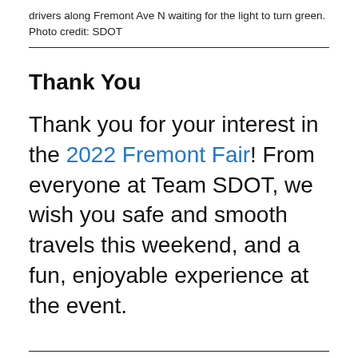drivers along Fremont Ave N waiting for the light to turn green. Photo credit: SDOT
Thank You
Thank you for your interest in the 2022 Fremont Fair! From everyone at Team SDOT, we wish you safe and smooth travels this weekend, and a fun, enjoyable experience at the event.